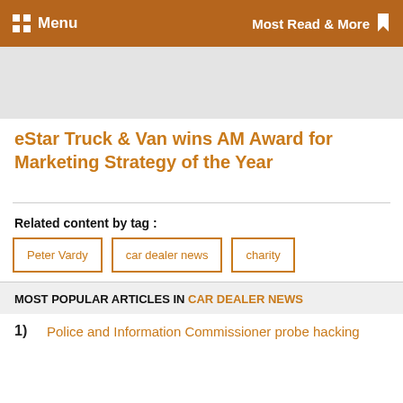Menu   Most Read & More
[Figure (photo): Grey image placeholder area at top of article]
eStar Truck & Van wins AM Award for Marketing Strategy of the Year
Related content by tag :
Peter Vardy
car dealer news
charity
MOST POPULAR ARTICLES IN CAR DEALER NEWS
1) Police and Information Commissioner probe hacking